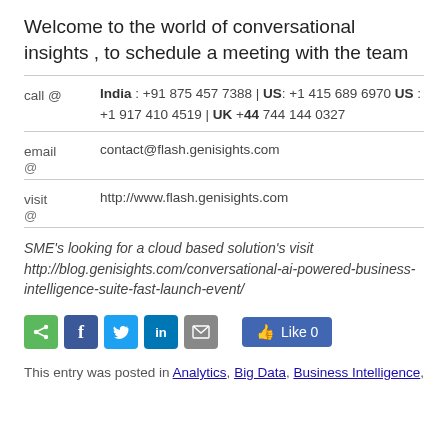Welcome to the world of conversational insights , to schedule a meeting with the team
call @  India : +91 875 457 7388 | US: +1 415 689 6970 US : +1 917 410 4519 | UK +44 744 144 0327
email @  contact@flash.genisights.com @
visit @  http://www.flash.genisights.com @
SME's looking for a cloud based solution's visit http://blog.genisights.com/conversational-ai-powered-business-intelligence-suite-fast-launch-event/
[Figure (other): Social sharing icons: share, facebook, twitter, linkedin, email, and a Like button showing 0 likes]
This entry was posted in Analytics, Big Data, Business Intelligence,